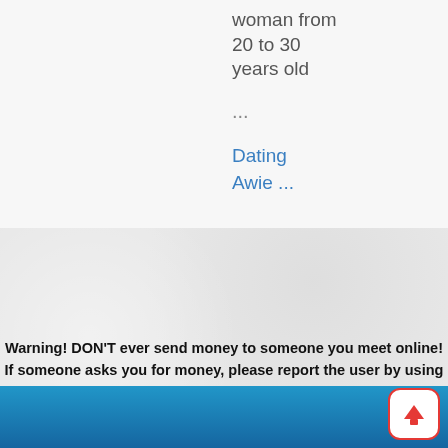woman from 20 to 30 years old
...
Dating Awie ...
1
441
Activity: Few Months Ago
[Figure (screenshot): Gray textured background section]
Warning! DON'T ever send money to someone you meet online! If someone asks you for money, please report the user by using our Report Scam feature.
[Figure (illustration): Blue gradient footer with scroll-to-top button (red-bordered white square with red upward arrow)]